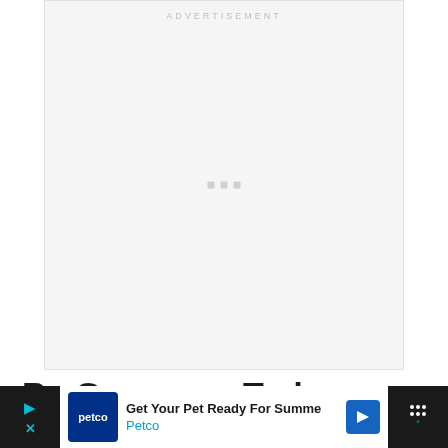[Figure (other): Advertisement placeholder box with light gray background and 'ADVERTISEMENT' label at top, three small gray squares in center]
Be Generous Today
You... have
[Figure (other): Petco advertisement banner at bottom: 'Get Your Pet Ready For Summe' / 'Petco' with Petco logo, nav icon, close controls on dark bar]